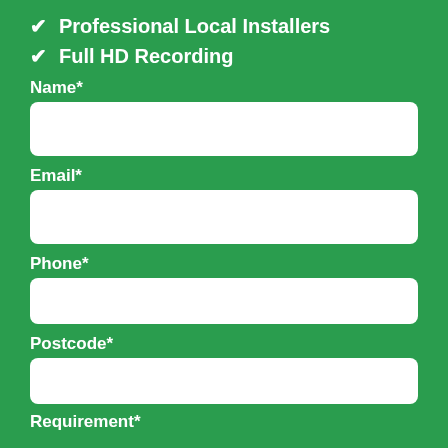✓ Professional Local Installers
✓ Full HD Recording
Name*
Email*
Phone*
Postcode*
Requirement*